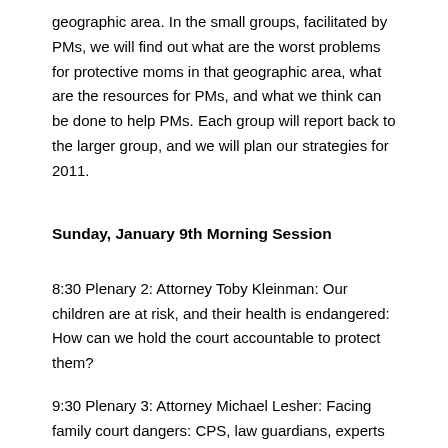geographic area. In the small groups, facilitated by PMs, we will find out what are the worst problems for protective moms in that geographic area, what are the resources for PMs, and what we think can be done to help PMs. Each group will report back to the larger group, and we will plan our strategies for 2011.
Sunday, January 9th Morning Session
8:30 Plenary 2: Attorney Toby Kleinman: Our children are at risk, and their health is endangered: How can we hold the court accountable to protect them?
9:30 Plenary 3: Attorney Michael Lesher: Facing family court dangers: CPS, law guardians, experts – Oh, my!
10:30 – 10:45 Break